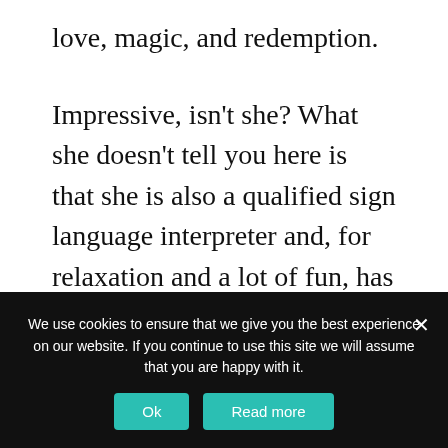love, magic, and redemption.
Impressive, isn't she? What she doesn't tell you here is that she is also a qualified sign language interpreter and, for relaxation and a lot of fun, has recently taken up ballroom dancing!
Since Angela has completed all sorts of different interviews on her blog tour, I asked
We use cookies to ensure that we give you the best experience on our website. If you continue to use this site we will assume that you are happy with it.